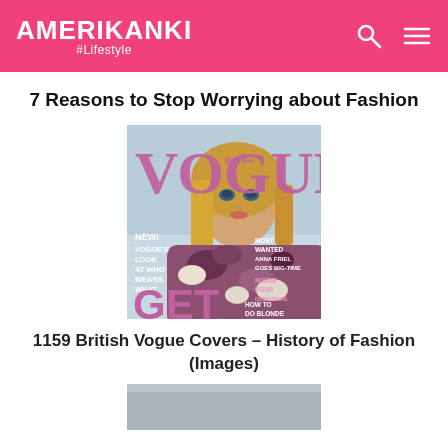AMERIKANKI #Lifestyle
7 Reasons to Stop Worrying about Fashion
[Figure (photo): British Vogue magazine cover featuring a blonde woman in floral/fur clothing, with text: VOGUE, BRITISH, NEW, VOGUE'S LOOK AT WHO WEARS WHAT, MOST WANTED ANNA FRIEL GOES BIG-TIME, INSIDE FOUR DESIGNERS, HOW TO DO BLONDE BRILLIANTLY, GET THE]
1159 British Vogue Covers – History of Fashion (Images)
[Figure (photo): Partial image of another fashion-related photo, gray/silver tones, bottom of page]